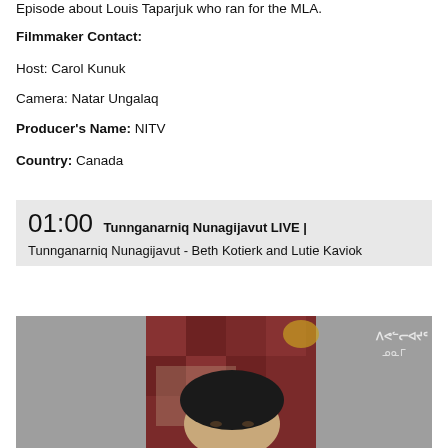Episode about Louis Taparjuk who ran for the MLA.
Filmmaker Contact:
Host: Carol Kunuk
Camera: Natar Ungalaq
Producer's Name: NITV
Country: Canada
01:00 Tunnganarniq Nunagijavut LIVE | Tunnganarniq Nunagijavut - Beth Kotierk and Lutie Kaviok
[Figure (photo): Screenshot of a video showing a person seated in front of a patterned background, with a watermark logo in the top right corner.]